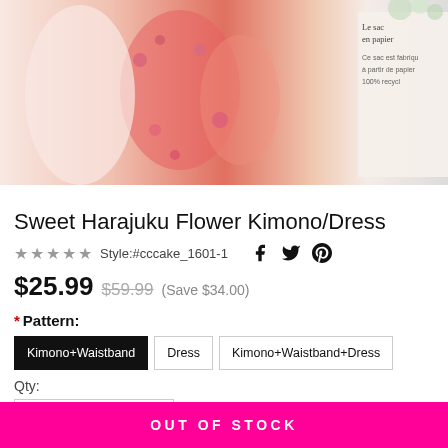[Figure (photo): Product photo of a Sweet Harajuku Flower Kimono/Dress in pink and coral floral pattern. Right side shows a partial view of a French paper bag label.]
Sweet Harajuku Flower Kimono/Dress
★★★★★ Style:#cccake_1601-1
$25.99 $59.99 (Save $34.00)
* Pattern:
Kimono+Waistband | Dress | Kimono+Waistband+Dress
Qty:
OUT OF STOCK